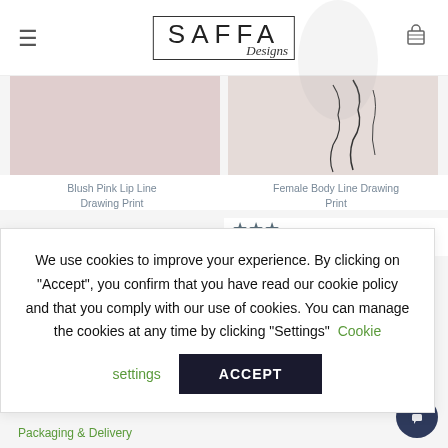SAFFA Designs
[Figure (photo): Blush pink product thumbnail - lip line drawing print]
[Figure (photo): Female body line drawing print thumbnail with body sketch lines]
Blush Pink Lip Line Drawing Print
Female Body Line Drawing Print
★★★
0 – $58.00
We use cookies to improve your experience. By clicking on "Accept", you confirm that you have read our cookie policy and that you comply with our use of cookies. You can manage the cookies at any time by clicking "Settings"  Cookie settings
ACCEPT
Packaging & Delivery